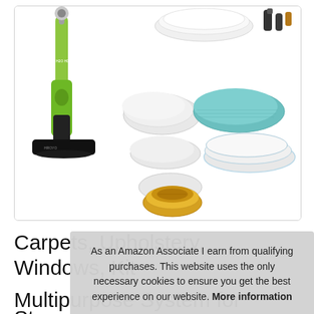[Figure (photo): Product photo of an H2O HD steam mop in green/black with various mop pad attachments, microfiber pads, blue chenille pads, white pads, a yellow scrubbing accessory, and nozzle adapters on a white background.]
Carpets, Upholstery, Windows, Kitchens & Bathrooms H2O HD PRO Steam Mop Cleaner Multipurpose System for Floors
As an Amazon Associate I earn from qualifying purchases. This website uses the only necessary cookies to ensure you get the best experience on our website. More information